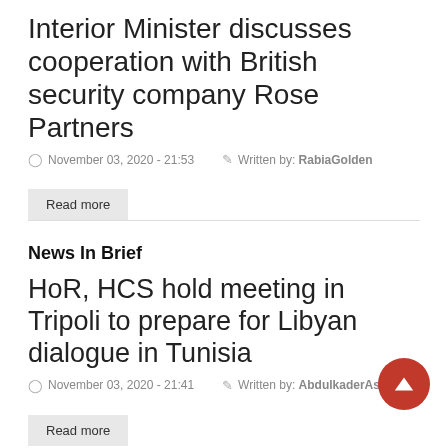Interior Minister discusses cooperation with British security company Rose Partners
November 03, 2020 - 21:53  Written by: RabiaGolden
Read more
News In Brief
HoR, HCS hold meeting in Tripoli to prepare for Libyan dialogue in Tunisia
November 03, 2020 - 21:41  Written by: AbdulkaderAssad
Read more